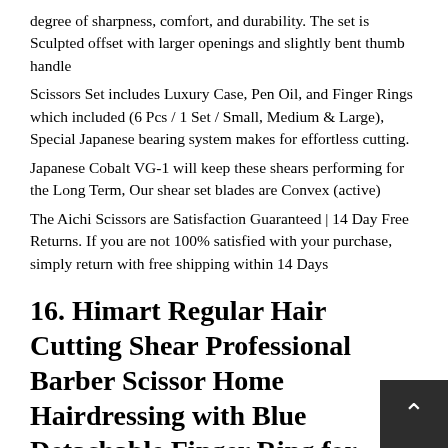degree of sharpness, comfort, and durability. The set is Sculpted offset with larger openings and slightly bent thumb handle
Scissors Set includes Luxury Case, Pen Oil, and Finger Rings which included (6 Pcs / 1 Set / Small, Medium & Large), Special Japanese bearing system makes for effortless cutting.
Japanese Cobalt VG-1 will keep these shears performing for the Long Term, Our shear set blades are Convex (active)
The Aichi Scissors are Satisfaction Guaranteed | 14 Day Free Returns. If you are not 100% satisfied with your purchase, simply return with free shipping within 14 Days
16. Himart Regular Hair Cutting Shear Professional Barber Scissor Home Hairdressing with Blue Detachable Finger Ring for Men/Women/Kid